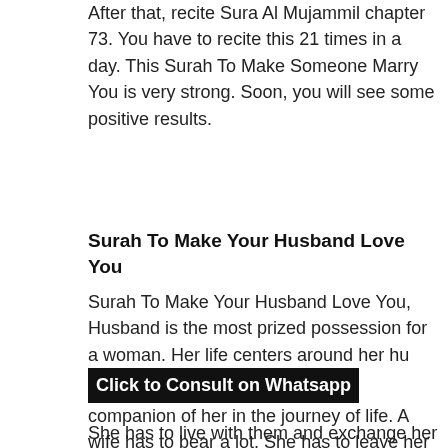After that, recite Sura Al Mujammil chapter 73. You have to recite this 21 times in a day. This Surah To Make Someone Marry You is very strong. Soon, you will see some positive results.
Surah To Make Your Husband Love You
Surah To Make Your Husband Love You, Husband is the most prized possession for a woman. Her life centers around her hu[Click to Consult on Whatsapp] companion of her in the journey of life. A wife has to bear a lot. She has to leave her belongings, her house, where she has grown up so long, and her family. In addition to that, She has to enter in an all-new atmosphere and make a few unknown people her family.
She has to live with them and exchange her feelings.